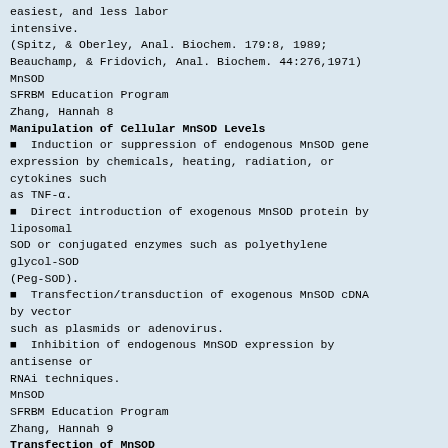easiest, and less labor intensive.
(Spitz, & Oberley, Anal. Biochem. 179:8, 1989; Beauchamp, & Fridovich, Anal. Biochem. 44:276,1971)
MnSOD
SFRBM Education Program
Zhang, Hannah 8
Manipulation of Cellular MnSOD Levels
Induction or suppression of endogenous MnSOD gene expression by chemicals, heating, radiation, or cytokines such as TNF-α.
Direct introduction of exogenous MnSOD protein by liposomal SOD or conjugated enzymes such as polyethylene glycol-SOD (Peg-SOD).
Transfection/transduction of exogenous MnSOD cDNA by vector such as plasmids or adenovirus.
Inhibition of endogenous MnSOD expression by antisense or RNAi techniques.
MnSOD
SFRBM Education Program
Zhang, Hannah 9
Transfection of MnSOD
Overexpression of MnSOD can be achieved by either stable transfection or transient transfection. The procedures for different forms of transfection are described in following diagram.